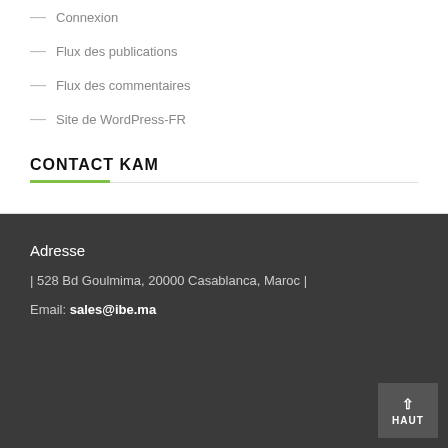— Connexion
— Flux des publications
— Flux des commentaires
— Site de WordPress-FR
CONTACT KAM
Adresse
| 528 Bd Goulmima, 20000 Casablanca, Maroc |
Email: sales@ibe.ma
HAUT